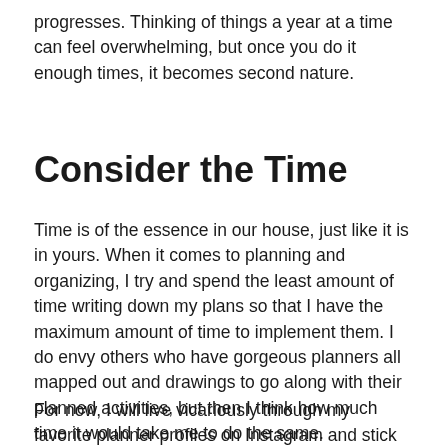progresses. Thinking of things a year at a time can feel overwhelming, but once you do it enough times, it becomes second nature.
Consider the Time
Time is of the essence in our house, just like it is in yours. When it comes to planning and organizing, I try and spend the least amount of time writing down my plans so that I have the maximum amount of time to implement them. I do envy others who have gorgeous planners all mapped out and drawings to go along with their planned activities, but then I think how much time it would take me to do the same.
For now, I will live vicariously through my favorite planner profiles on Instagram and stick with my tried and true